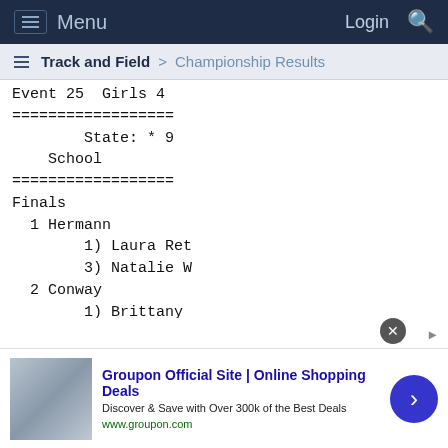Menu   Login
Track and Field > Championship Results
Event 25  Girls 4
==================
        State: * 9
    School
==================
Finals
  1 Hermann
        1) Laura Ret
        3) Natalie W
  2 Conway
        1) Brittany
        3) Chani Bai
  3 Mark Twain
        1) Samantha
        3) Deidra Ja
  4 Penney
        1) Kathleen
Groupon Official Site | Online Shopping Deals
Discover & Save with Over 300k of the Best Deals
www.groupon.com